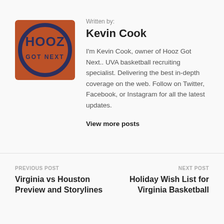[Figure (logo): Hooz Got Next logo — orange textured background with dark navy circle and text 'HOOZ GOT NEXT']
Written by:
Kevin Cook
I'm Kevin Cook, owner of Hooz Got Next.. UVA basketball recruiting specialist. Delivering the best in-depth coverage on the web. Follow on Twitter, Facebook, or Instagram for all the latest updates.
View more posts
PREVIOUS POST
Virginia vs Houston Preview and Storylines
NEXT POST
Holiday Wish List for Virginia Basketball